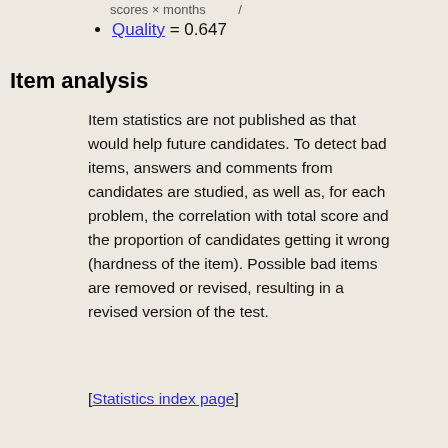scores × months        /
Quality = 0.647
Item analysis
Item statistics are not published as that would help future candidates. To detect bad items, answers and comments from candidates are studied, as well as, for each problem, the correlation with total score and the proportion of candidates getting it wrong (hardness of the item). Possible bad items are removed or revised, resulting in a revised version of the test.
[Statistics index page]